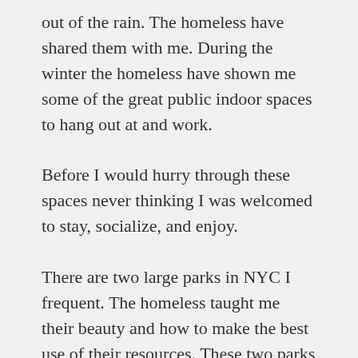out of the rain. The homeless have shared them with me. During the winter the homeless have shown me some of the great public indoor spaces to hang out at and work.
Before I would hurry through these spaces never thinking I was welcomed to stay, socialize, and enjoy.
There are two large parks in NYC I frequent. The homeless taught me their beauty and how to make the best use of their resources. These two parks offer food, water, shelter, and entertainment.